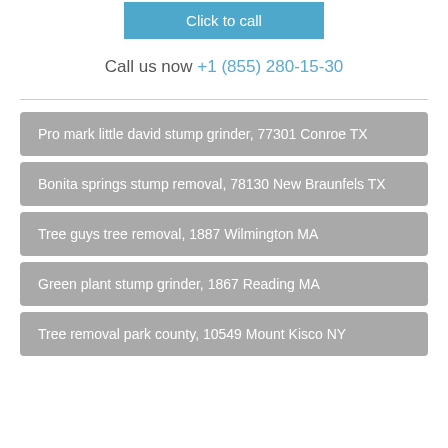[Figure (other): Blue 'Click to call' button at top center]
Call us now +1 (855) 280-15-30
Pro mark little david stump grinder, 77301 Conroe TX
Bonita springs stump removal, 78130 New Braunfels TX
Tree guys tree removal, 1887 Wilmington MA
Green plant stump grinder, 1867 Reading MA
Tree removal park county, 10549 Mount Kisco NY